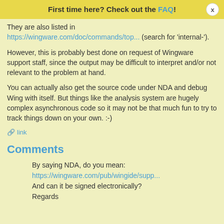First time here? Check out the FAQ!
They are also listed in https://wingware.com/doc/commands/top... (search for 'internal-').
However, this is probably best done on request of Wingware support staff, since the output may be difficult to interpret and/or not relevant to the problem at hand.
You can actually also get the source code under NDA and debug Wing with itself. But things like the analysis system are hugely complex asynchronous code so it may not be that much fun to try to track things down on your own. :-)
link
Comments
By saying NDA, do you mean:
https://wingware.com/pub/wingide/supp...
And can it be signed electronically?
Regards